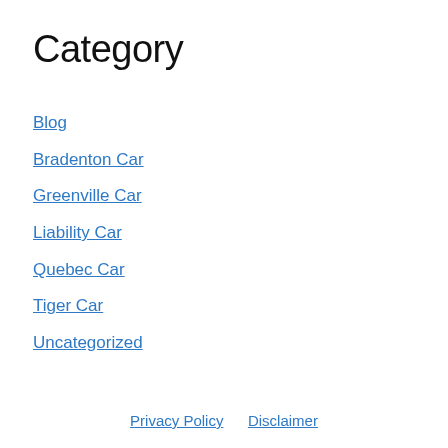Category
Blog
Bradenton Car
Greenville Car
Liability Car
Quebec Car
Tiger Car
Uncategorized
Privacy Policy   Disclaimer